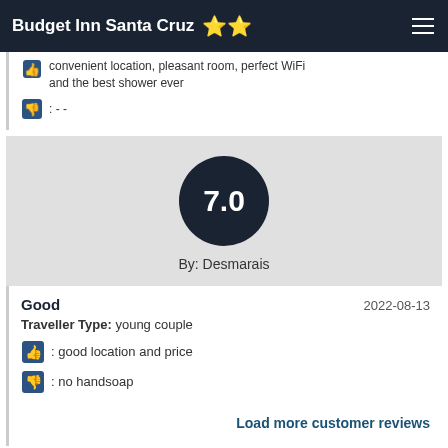Budget Inn Santa Cruz ★★
convenient location, pleasant room, perfect WiFi and the best shower ever
: - -
[Figure (other): Score circle showing 7.0 rating by Desmarais on gray background]
By: Desmarais
Good   2022-08-13
Traveller Type: young couple
: good location and price
: no handsoap
Load more customer reviews